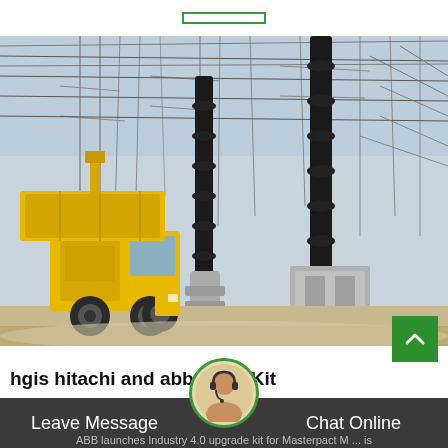[Figure (photo): Yellow utility truck parked at a high-voltage electrical substation with large insulators and overhead power lines against a pale blue sky.]
hgis hitachi and abb Refill Kit
Leave Message
Chat Online
ABB launches Industry 4.0 upgrade kit for Masterpact M ... is